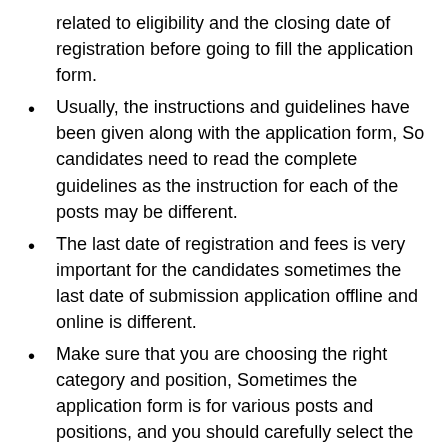related to eligibility and the closing date of registration before going to fill the application form.
Usually, the instructions and guidelines have been given along with the application form, So candidates need to read the complete guidelines as the instruction for each of the posts may be different.
The last date of registration and fees is very important for the candidates sometimes the last date of submission application offline and online is different.
Make sure that you are choosing the right category and position, Sometimes the application form is for various posts and positions, and you should carefully select the position for which you would like to apply.
Fill up all the columns of the application with required personal details. The information which you have enter must same as in the